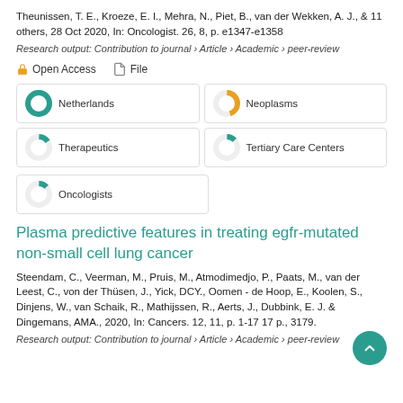Theunissen, T. E., Kroeze, E. I., Mehra, N., Piet, B., van der Wekken, A. J., & 11 others, 28 Oct 2020, In: Oncologist. 26, 8, p. e1347-e1358
Research output: Contribution to journal › Article › Academic › peer-review
Open Access   File
[Figure (infographic): Five keyword pills in a 2-column grid showing topic coverage percentages: Netherlands 100%, Neoplasms ~45%, Therapeutics ~15%, Tertiary Care Centers ~10%, Oncologists ~10%]
Plasma predictive features in treating egfr-mutated non-small cell lung cancer
Steendam, C., Veerman, M., Pruis, M., Atmodimedjo, P., Paats, M., van der Leest, C., von der Thüsen, J., Yick, DCY., Oomen - de Hoop, E., Koolen, S., Dinjens, W., van Schaik, R., Mathijssen, R., Aerts, J., Dubbink, E. J. & Dingemans, AMA., 2020, In: Cancers. 12, 11, p. 1-17 17 p., 3179.
Research output: Contribution to journal › Article › Academic › peer-review